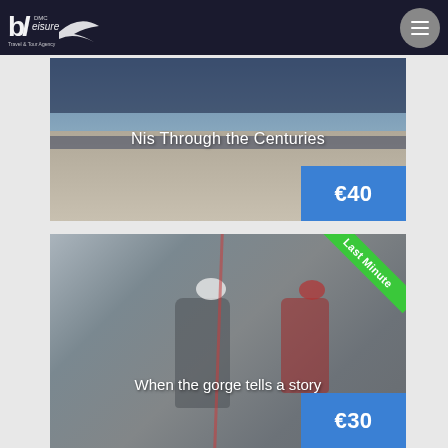BL Leisure DMC logo and navigation
[Figure (photo): Aerial view of a historic stone plaza or square - Nis Through the Centuries tour card showing €40 price]
[Figure (photo): Two climbers on a rock face with ropes and helmets - When the gorge tells a story tour card with Last Minute badge showing €30 price]